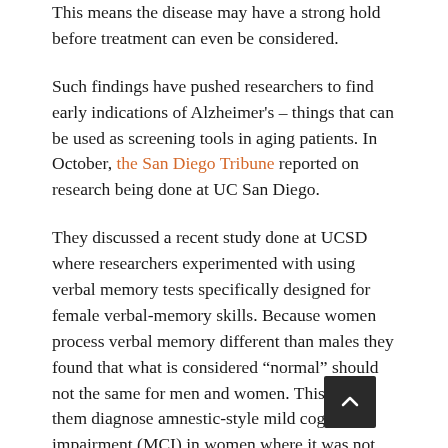This means the disease may have a strong hold before treatment can even be considered.
Such findings have pushed researchers to find early indications of Alzheimer's – things that can be used as screening tools in aging patients. In October, the San Diego Tribune reported on research being done at UC San Diego.
They discussed a recent study done at UCSD where researchers experimented with using verbal memory tests specifically designed for female verbal-memory skills. Because women process verbal memory different than males they found that what is considered “normal” should not the same for men and women. This helped them diagnose amnestic-style mild cognitive impairment (MCI) in women where it was not seen before.
MCI includes symptoms like: